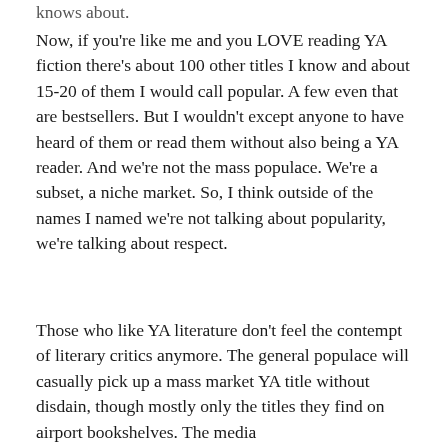knows about.
Now, if you're like me and you LOVE reading YA fiction there's about 100 other titles I know and about 15-20 of them I would call popular. A few even that are bestsellers. But I wouldn't except anyone to have heard of them or read them without also being a YA reader. And we're not the mass populace. We're a subset, a niche market. So, I think outside of the names I named we're not talking about popularity, we're talking about respect.
Those who like YA literature don't feel the contempt of literary critics anymore. The general populace will casually pick up a mass market YA title without disdain, though mostly only the titles they find on airport bookshelves. The media